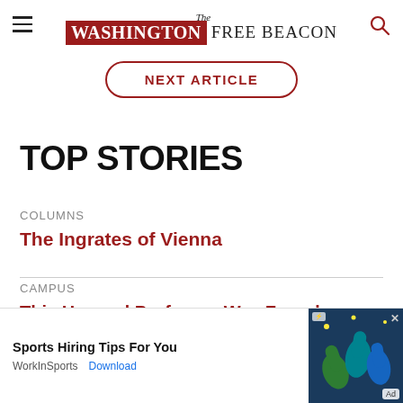The Washington Free Beacon
NEXT ARTICLE
TOP STORIES
COLUMNS
The Ingrates of Vienna
CAMPUS
This Harvard Professor Was Found Tell a Different Story.
[Figure (infographic): Advertisement banner: Sports Hiring Tips For You, WorkInSports, Download button, and ad image with hands holding sports items]
Sports Hiring Tips For You · WorkInSports · Download